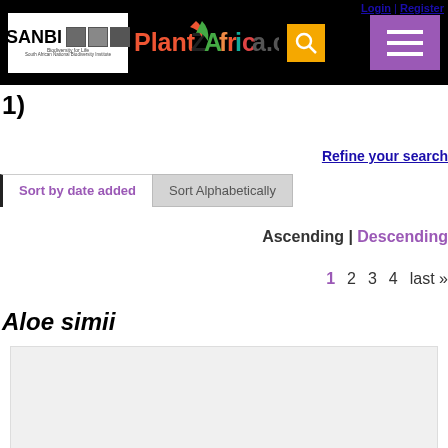[Figure (screenshot): PlantZAfrica.com website header with SANBI logo, PlantZAfrica.com logo, search button, and hamburger menu]
Login | Register
1)
Refine your search
Sort by date added
Sort Alphabetically
Ascending | Descending
1  2  3  4  last »
Aloe simii
[Figure (photo): Empty image placeholder for Aloe simii]